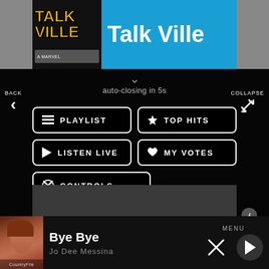[Figure (screenshot): Talk Ville podcast banner with yellow logo text on dark background and blue background with white 'Talk Ville' text]
auto-closing in 5s
PLAYLIST
TOP HITS
LISTEN LIVE
MY VOTES
CONTROLS
Data opt-out
Bye Bye
Jo Dee Messina
MENU